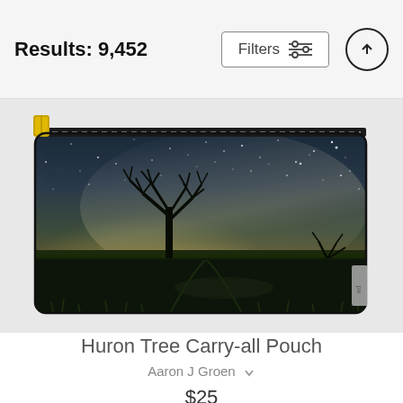Results: 9,452
[Figure (photo): A zippered carry-all pouch featuring a nighttime Milky Way photograph with a lone bare tree silhouetted against a starry sky and glowing horizon in an open field]
Huron Tree Carry-all Pouch
Aaron J Groen
$25